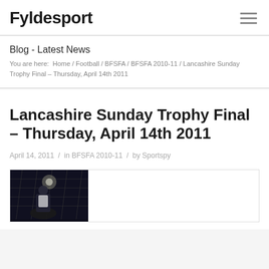Fyldesport
Blog - Latest News
You are here:  Home / Football / BFSFA / BFSFA 2010-11 / Lancashire Sunday Trophy Final – Thursday, April 14th 2011
Lancashire Sunday Trophy Final – Thursday, April 14th 2011
April 14, 2011  /  in BFSFA 2010-11  /  by Sportspy
[Figure (photo): Dark photo showing a football-related scene with lights/netting in background]